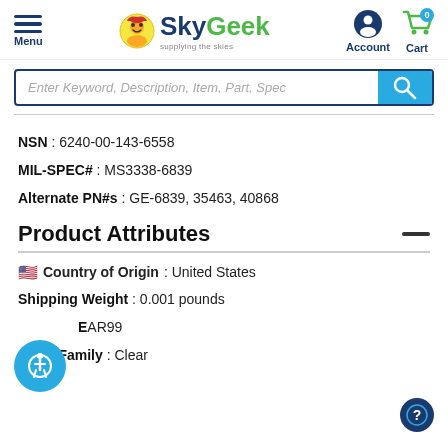SkyGeek - Supplying the Skies
NSN : 6240-00-143-6558
MIL-SPEC# : MS3338-6839
Alternate PN#s : GE-6839, 35463, 40868
Product Attributes
Country of Origin : United States
Shipping Weight : 0.001 pounds
EAR99
Color Family : Clear